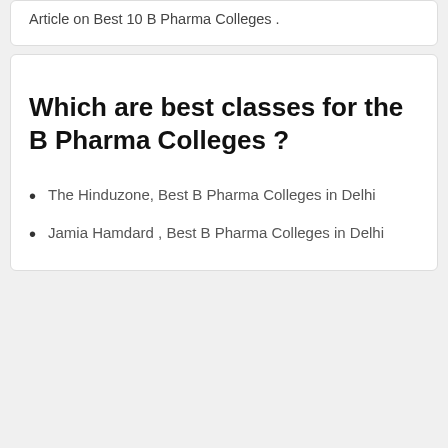Article on Best 10 B Pharma Colleges .
Which are best classes for the B Pharma Colleges ?
The Hinduzone, Best B Pharma Colleges in Delhi
Jamia Hamdard , Best B Pharma Colleges in Delhi